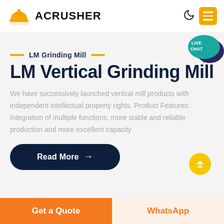[Figure (logo): Acrusher logo with orange hard hat icon and bold uppercase ACRUSHER text]
LM Grinding Mill
LM Vertical Grinding Mill
We have successively launched vertical mill products with independent intellectual property rights. Product Features: Integration of multiple functions, more stable and reliable production and more excellent capacity
[Figure (infographic): Dark navy Read More button with arrow, and yellow circular scroll-up button]
[Figure (infographic): Live Chat teal speech bubble widget in top right]
Get a Quote
WhatsApp